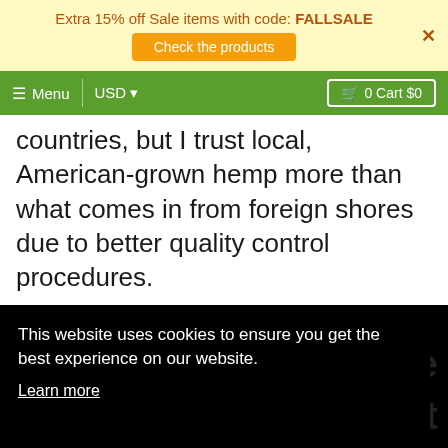Extra 15% off Sale items with code: FALLSALE
Check the products
Menu | USD | 0 Cart $0
countries, but I trust local, American-grown hemp more than what comes in from foreign shores due to better quality control procedures.
This website uses cookies to ensure you get the best experience on our website.
Learn more
Deny
Allow cookies